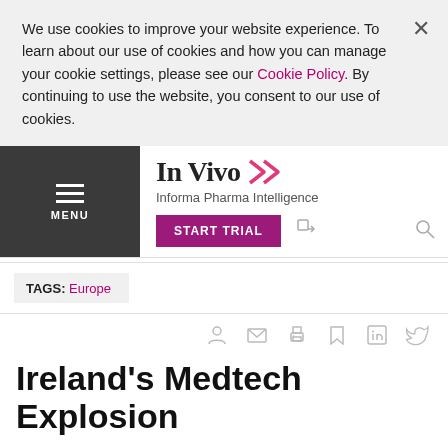We use cookies to improve your website experience. To learn about our use of cookies and how you can manage your cookie settings, please see our Cookie Policy. By continuing to use the website, you consent to our use of cookies.
In Vivo — Informa Pharma Intelligence
TAGS: Europe
Ireland's Medtech Explosion
01 Sep 2011
Executive Summary